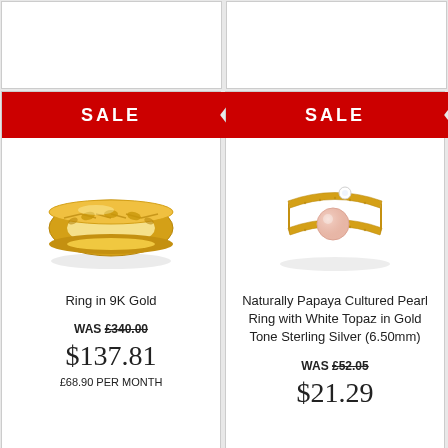[Figure (photo): Empty white product card top left]
[Figure (photo): Empty white product card top right]
[Figure (photo): Sale banner and Ring in 9K Gold product card with gold leaf-patterned ring image]
Ring in 9K Gold
WAS £340.00
$137.81
£68.90 PER MONTH
[Figure (photo): Sale banner and Naturally Papaya Cultured Pearl Ring with White Topaz in Gold Tone Sterling Silver (6.50mm) product card with ring image]
Naturally Papaya Cultured Pearl Ring with White Topaz in Gold Tone Sterling Silver (6.50mm)
WAS £52.05
$21.29